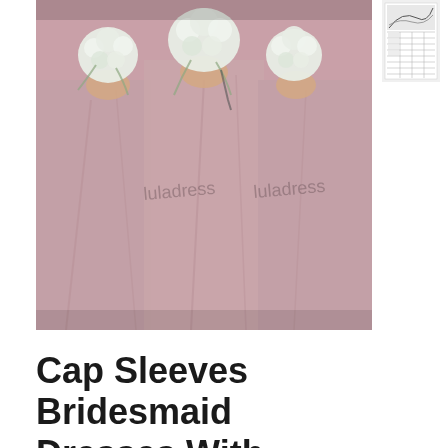[Figure (photo): Three bridesmaids in long dusty pink/mauve dresses holding white flower bouquets, watermarked with 'luladress' text]
[Figure (other): Small thumbnail image showing a size chart or measurement guide table]
Cap Sleeves Bridesmaid Dresses With